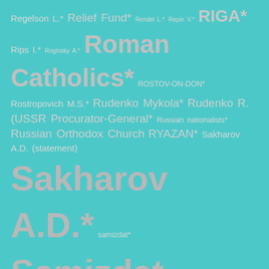Regelson L.* Relief Fund* Rendel L.* Repin V.* RIGA* Rips I.* Roginsky A.* Roman Catholics* ROSTOV-ON-DON* Rostropovich M.S.* Rudenko Mykola* Rudenko R. (USSR Procurator-General* Russian nationalists* Russian Orthodox Church RYAZAN* Sakharov A.D. (statement) Sakharov A.D.* samizdat* Samizdat update Sannikova Yelena* SARATOV* Sasnauskas J.* Second World War (1939-1945)* Senderov V.* Serbsky Institute* Serebrov F* Sergiyenko A.* Shabatura, Stefania* Shafarevich I.R.* Shatravka A.* Shcharansky A.* Shelkov V.* Shibayev S.* Shikhanovich Yu.* Shumuk D.* SIBERIA* Sichko P.* Sichko V.* Sinyavsky-Daniel* Sinyavsky A.D.* Skobov A. Smirnov A.* Snegirov G.* Sokirko V.* Solzhenitsyn A.I.*